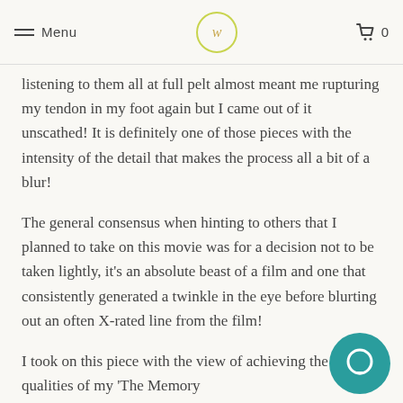Menu | [logo] | 0
listening to them all at full pelt almost meant me rupturing my tendon in my foot again but I came out of it unscathed! It is definitely one of those pieces with the intensity of the detail that makes the process all a bit of a blur!
The general consensus when hinting to others that I planned to take on this movie was for a decision not to be taken lightly, it's an absolute beast of a film and one that consistently generated a twinkle in the eye before blurting out an often X-rated line from the film!
I took on this piece with the view of achieving the qualities of my 'The Memory